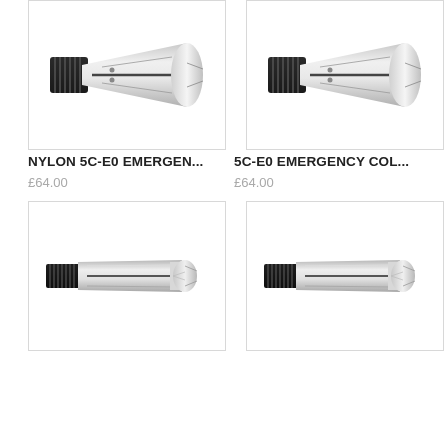[Figure (photo): Silver metallic 5C collet with black threaded end, tapered body with slots, top-left product]
[Figure (photo): Silver metallic 5C collet with black threaded end, tapered body with slots, top-right product]
NYLON 5C-E0 EMERGEN...
5C-E0 EMERGENCY COL...
£64.00
£64.00
[Figure (photo): Silver metallic 5C collet with black threaded end, cylindrical body, bottom-left product]
[Figure (photo): Silver metallic 5C collet with black threaded end, cylindrical body, bottom-right product]